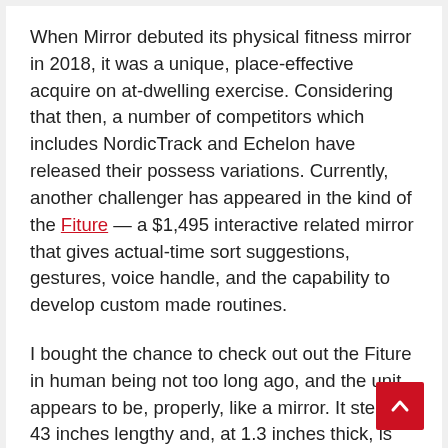When Mirror debuted its physical fitness mirror in 2018, it was a unique, place-effective acquire on at-dwelling exercise. Considering that then, a number of competitors which includes NordicTrack and Echelon have released their possess variations. Currently, another challenger has appeared in the kind of the Fiture — a $1,495 interactive related mirror that gives actual-time sort suggestions, gestures, voice handle, and the capability to develop custom made routines.
I bought the chance to check out out the Fiture in human being not too long ago, and the unit appears to be, properly, like a mirror. It steps 43 inches lengthy and, at 1.3 inches thick, is fairly